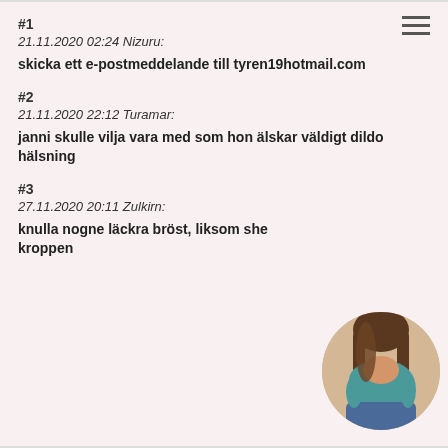#1
21.11.2020 02:24 Nizuru:
skicka ett e-postmeddelande till tyren19hotmail.com
#2
21.11.2020 22:12 Turamar:
janni skulle vilja vara med som hon älskar väldigt dildo hälsning
#3
27.11.2020 20:11 Zulkirn:
knulla nogne läckra bröst, liksom she kroppen
[Figure (photo): Circular cropped photo of a person]